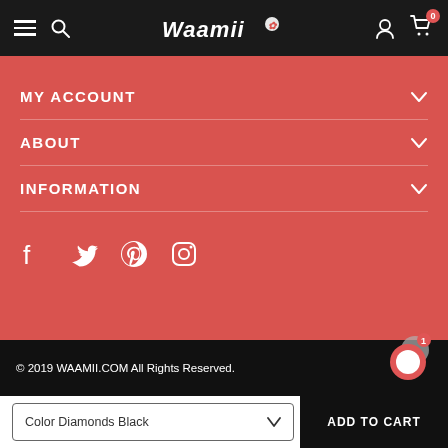Waamii navigation bar with hamburger menu, search, logo, user icon, and cart (0)
MY ACCOUNT
ABOUT
INFORMATION
[Figure (logo): Social media icons: Facebook, Twitter, Pinterest, Instagram]
© 2019 WAAMII.COM All Rights Reserved.
Color Diamonds Black  ADD TO CART